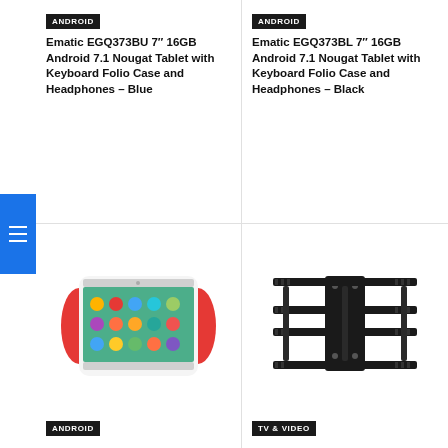ANDROID
Ematic EGQ373BU 7″ 16GB Android 7.1 Nougat Tablet with Keyboard Folio Case and Headphones – Blue
ANDROID
Ematic EGQ373BL 7″ 16GB Android 7.1 Nougat Tablet with Keyboard Folio Case and Headphones – Black
[Figure (photo): Kids tablet with red handles, showing colorful app icons on screen]
ANDROID
[Figure (photo): Black articulating TV wall mount bracket]
TV & VIDEO